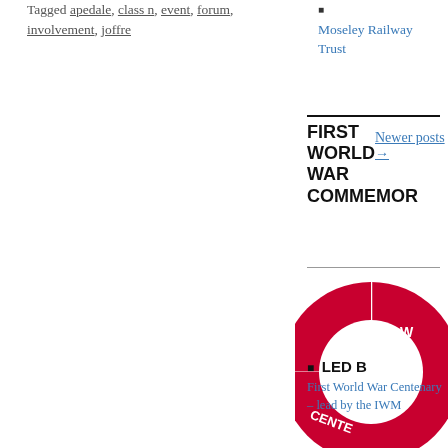Tagged apedale, class n, event, forum, involvement, joffre
Newer posts →
Moseley Railway Trust
FIRST WORLD WAR COMMEMOR
[Figure (logo): First World War Centenary logo — red donut/arc shape with white text reading FIRST and CENTE visible]
LED B — First World War Centenary – lead by the IWM